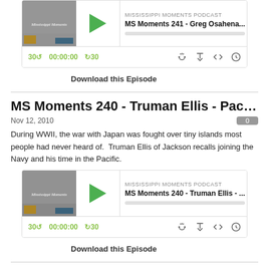[Figure (screenshot): Podcast player widget for MS Moments 241 - Greg Osahena episode showing thumbnail, play button, episode info, progress bar, and controls (30s back, 00:00:00, +30, RSS, download, embed, share icons)]
Download this Episode
MS Moments 240 - Truman Ellis - Pacific Isl...
Nov 12, 2010
During WWII, the war with Japan was fought over tiny islands most people had never heard of.  Truman Ellis of Jackson recalls joining the Navy and his time in the Pacific.
[Figure (screenshot): Podcast player widget for MS Moments 240 - Truman Ellis episode showing thumbnail, play button, episode info, progress bar, and controls]
Download this Episode
MS Moments 239 - ...